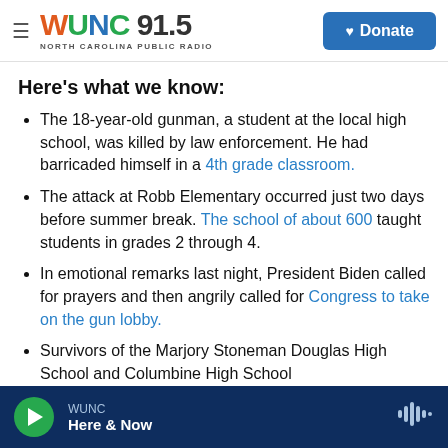WUNC 91.5 NORTH CAROLINA PUBLIC RADIO | Donate
Here's what we know:
The 18-year-old gunman, a student at the local high school, was killed by law enforcement. He had barricaded himself in a 4th grade classroom.
The attack at Robb Elementary occurred just two days before summer break. The school of about 600 taught students in grades 2 through 4.
In emotional remarks last night, President Biden called for prayers and then angrily called for Congress to take on the gun lobby.
Survivors of the Marjory Stoneman Douglas High School and Columbine High School
WUNC | Here & Now